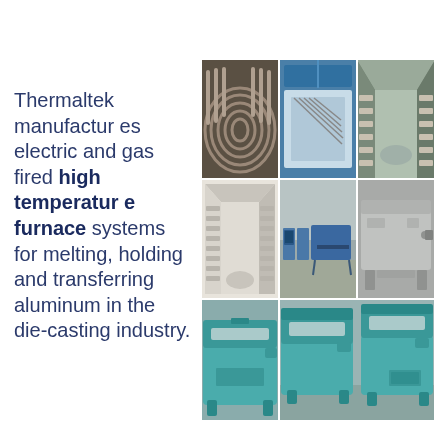Thermaltek manufactures electric and gas fired high temperature furnace systems for melting, holding and transferring aluminum in the die-casting industry.
[Figure (photo): Collage of 8 industrial furnace photos: close-up of circular resistance heating elements inside a furnace chamber; open lid of a rectangular electric furnace with heating rods; interior of a square furnace showing heating elements along walls; close-up of a square furnace interior corner showing ceramic insulation and heating elements; row of industrial gas-fired conveyor/tunnel furnaces with control panels in a warehouse; a gray rectangular holding furnace exterior; a teal/turquoise aluminum melting furnace with open lid showing heating element; two teal/turquoise die-casting aluminum holding/transfer furnaces side by side.]